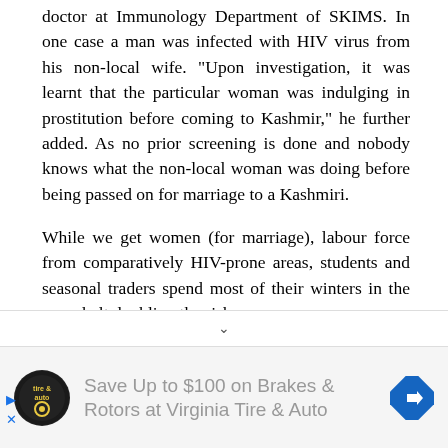doctor at Immunology Department of SKIMS. In one case a man was infected with HIV virus from his non-local wife. "Upon investigation, it was learnt that the particular woman was indulging in prostitution before coming to Kashmir," he further added. As no prior screening is done and nobody knows what the non-local woman was doing before being passed on for marriage to a Kashmiri.
While we get women (for marriage), labour force from comparatively HIV-prone areas, students and seasonal traders spend most of their winters in the same belt doubling the risk.
[Figure (other): Advertisement banner: Save Up to $100 on Brakes & Rotors at Virginia Tire & Auto, with Virginia Tire & Auto circular logo and a blue direction sign arrow icon]